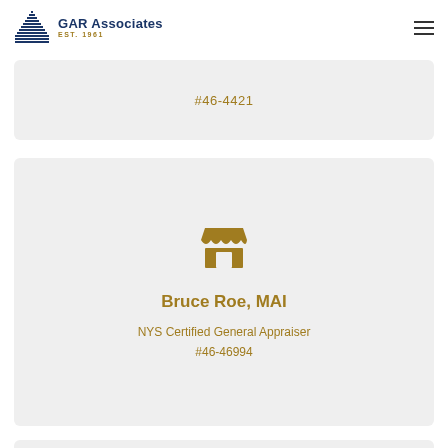GAR Associates EST. 1961
#46-4421
Bruce Roe, MAI
NYS Certified General Appraiser
#46-46994